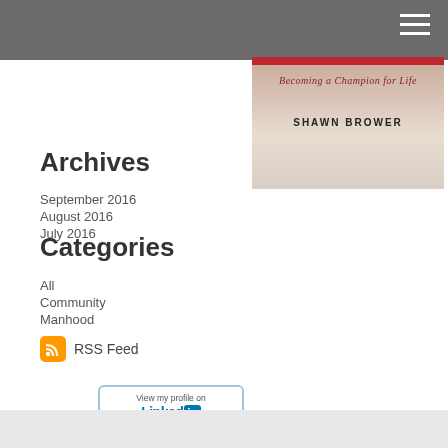[Figure (illustration): Grey header bar with hamburger menu icon (three white horizontal lines) in top-right corner]
[Figure (illustration): Book cover showing 'Becoming a Champion for Life' by Shawn Brower, with red bar at top and beige/cream background]
Archives
September 2016
August 2016
July 2016
Categories
All
Community
Manhood
[Figure (illustration): RSS Feed icon (orange square with RSS symbol) followed by text 'RSS Feed']
[Figure (illustration): LinkedIn badge button: 'View my profile on LinkedIn']